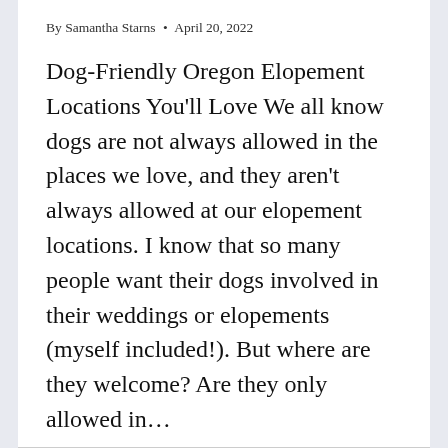By Samantha Starns • April 20, 2022
Dog-Friendly Oregon Elopement Locations You'll Love We all know dogs are not always allowed in the places we love, and they aren't always allowed at our elopement locations. I know that so many people want their dogs involved in their weddings or elopements (myself included!). But where are they welcome? Are they only allowed in…
READ MORE →